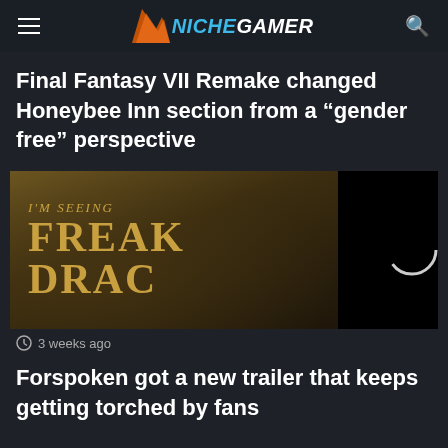Niche Gamer
Final Fantasy VII Remake changed Honeybee Inn section from a “gender free” perspective
[Figure (screenshot): Video thumbnail showing text 'I'M SEEING FREAK DRAG' on a dark fantasy background, with a black video player panel on the right showing a loading circle, and an X close button at the top right corner]
3 weeks ago
Forspoken got a new trailer that keeps getting torched by fans